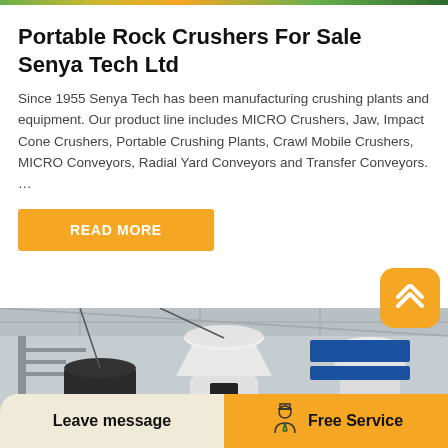Portable Rock Crushers For Sale Senya Tech Ltd
Since 1955 Senya Tech has been manufacturing crushing plants and equipment. Our product line includes MICRO Crushers, Jaw, Impact Cone Crushers, Portable Crushing Plants, Crawl Mobile Crushers, MICRO Conveyors, Radial Yard Conveyors and Transfer Conveyors. …
READ MORE
[Figure (photo): Industrial factory floor with large cone crusher machines (white and red) inside a warehouse facility]
Leave message
Free Service